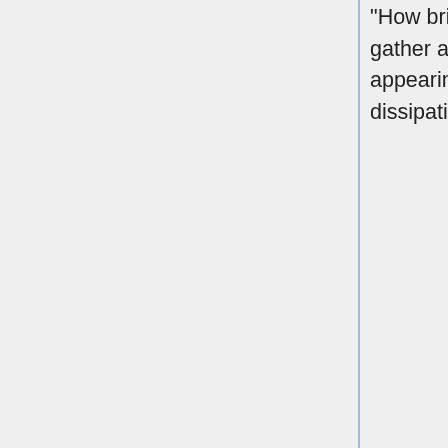"How bright you both are... but can you pierce the mists that gather around you?" She then lifts her parasol, a swell of energy appearing around her, before she twirls it around, the energy dissipating into a dark, dangerous mist.
COMBAT: Shine Preventer has used Preventing Mist on Tadase Hotori.

COMBAT: Shine Preventer has used Preventing Mist on Princess Runealy.
COMBAT: Shine Preventer has finished attacking.